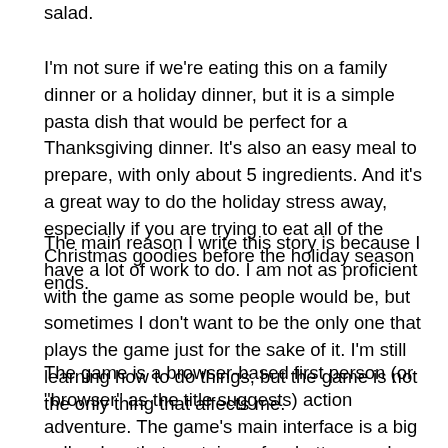salad.
I'm not sure if we're eating this on a family dinner or a holiday dinner, but it is a simple pasta dish that would be perfect for a Thanksgiving dinner. It's also an easy meal to prepare, with only about 5 ingredients. And it's a great way to do the holiday stress away, especially if you are trying to eat all of the Christmas goodies before the holiday season ends.
The main reason I write this story is because I have a lot of work to do. I am not as proficient with the game as some people would be, but sometimes I don't want to be the only one that plays the game just for the sake of it. I'm still learning how to do things, but the game is not the only thing that affects me.
The game is a browser-based first person (or "browser" as the title suggests) action adventure. The game's main interface is a big yellow box that contains a few buttons and some text. There are other smaller yellow boxes, and a big button that looks like a